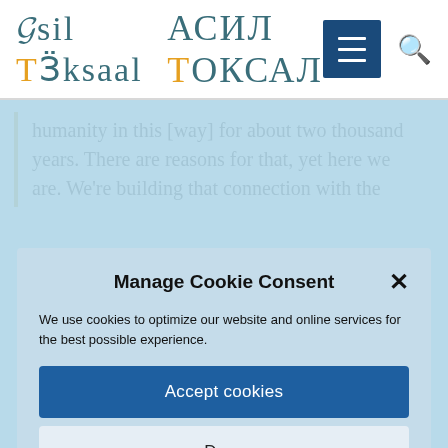ASIL TOKSAL
humanity in this [way] for about two thousand years. There are reasons for that, yet here we are. We're building that connection with the
Manage Cookie Consent
We use cookies to optimize our website and online services for the best possible experience.
Accept cookies
Deny
View preferences
Cookie Policy   Privacy Policy   Contact / Imprint